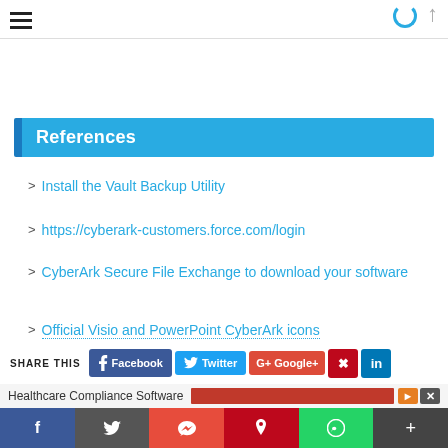References
Install the Vault Backup Utility
https://cyberark-customers.force.com/login
CyberArk Secure File Exchange to download your software
Official Visio and PowerPoint CyberArk icons
SHARE THIS
Facebook  Twitter  G+ Google+
Healthcare Compliance Software